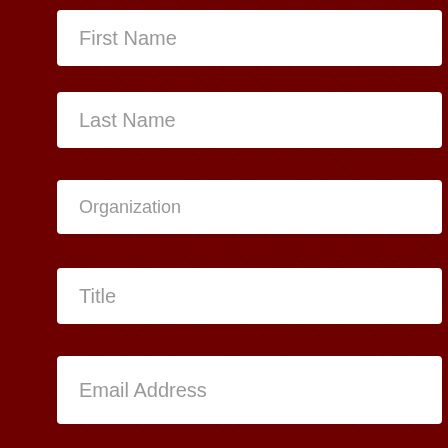[Figure (screenshot): Form registration page with dark red background showing magazine/media thumbnails. Contains input fields for First Name, Last Name, Organization, Title, Email Address, and newsletter subscription checkboxes for SVG Insider (Tuesday-Friday), SVG Digital Now (Monday), and a third partially visible option.]
First Name
Last Name
Organization
Title
Email Address
SVG Insider (Tuesday - Friday)
SVG Digital Now (Monday)